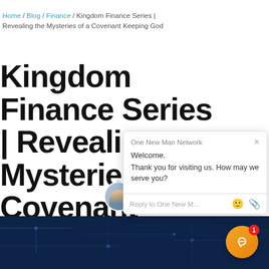Home / Blog / Finance / Kingdom Finance Series | Revealing the Mysteries of a Covenant Keeping God
Kingdom Finance Series | Revealing the Mysteries of a Covenant Keeping God
July 31, 2017 by Curt Landry Ministries
[Figure (screenshot): Chat popup overlay from One New Man Network with welcome message: 'Welcome. Thank you for visiting us. How may we serve you?' and a reply input field with emoji and attachment icons.]
[Figure (photo): Dark blue background image at the bottom of the page with circuit board or technology pattern, partially visible. An orange chat button with a smiley face icon and red notification badge showing '1' is in the bottom right corner.]